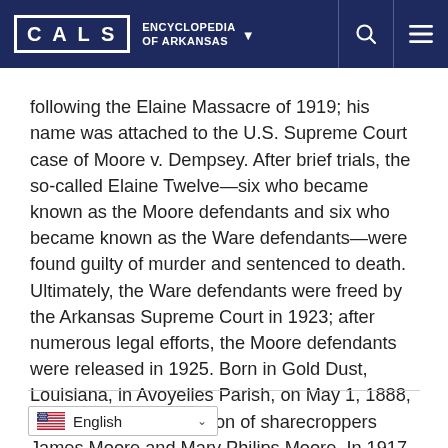CALS ENCYCLOPEDIA OF ARKANSAS
following the Elaine Massacre of 1919; his name was attached to the U.S. Supreme Court case of Moore v. Dempsey. After brief trials, the so-called Elaine Twelve—six who became known as the Moore defendants and six who became known as the Ware defendants—were found guilty of murder and sentenced to death. Ultimately, the Ware defendants were freed by the Arkansas Supreme Court in 1923; after numerous legal efforts, the Moore defendants were released in 1925. Born in Gold Dust, Louisiana, in Avoyelles Parish, on May 1, 1888, Frank Moore was the son of sharecroppers James Moore and Mary Philips Moore. In 1917, Moore reported on …
English